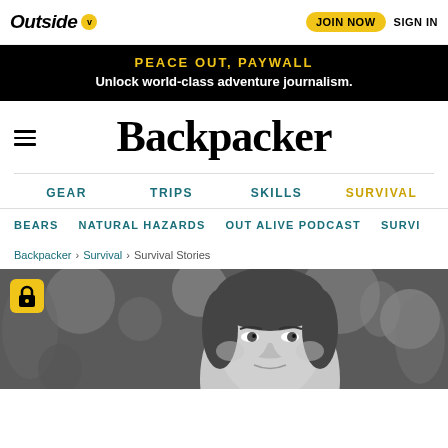Outside | JOIN NOW | SIGN IN
PEACE OUT, PAYWALL
Unlock world-class adventure journalism.
Backpacker
GEAR | TRIPS | SKILLS | SURVIVAL
BEARS | NATURAL HAZARDS | OUT ALIVE PODCAST | SURVI...
Backpacker > Survival > Survival Stories
[Figure (photo): Black and white photo of a young woman's face looking at the camera, with blurred foliage in the background. A yellow lock icon is visible in the upper left corner over the image.]